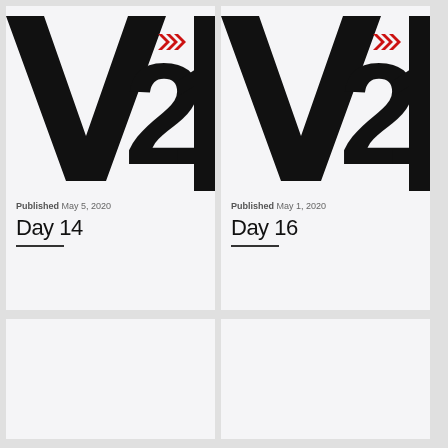[Figure (logo): V21 BOINGVERT logo — large bold black V21 text with red chevron arrows and vertical BOINGVERT text on right side]
Published May 5, 2020
Day 14
[Figure (logo): V21 BOINGVERT logo — large bold black V21 text with red chevron arrows and vertical BOINGVERT text on right side]
Published May 1, 2020
Day 16